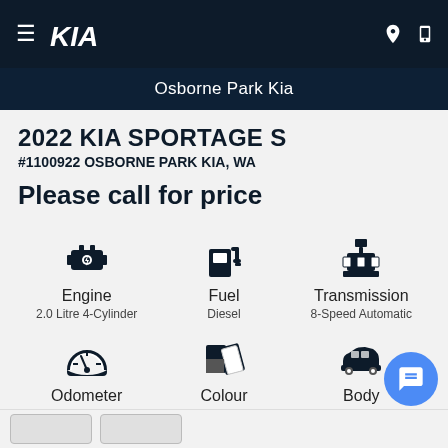Osborne Park Kia
2022 KIA SPORTAGE S
#1100922 OSBORNE PARK KIA, WA
Please call for price
[Figure (infographic): Six vehicle spec icons in a 3x2 grid: Engine (2.0 Litre 4-Cylinder), Fuel (Diesel), Transmission (8-Speed Automatic), Odometer (12 Kms), Colour (Clear White), Body (5-Door SUV)]